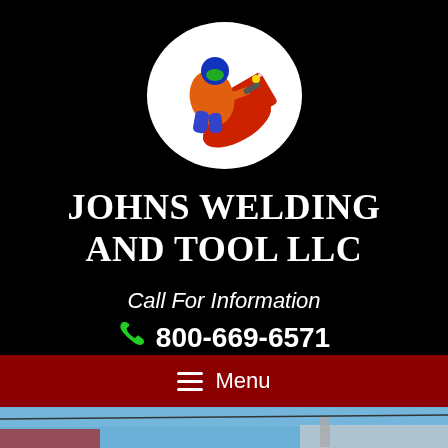[Figure (logo): Circular white logo featuring an illustrated welder in orange suit with blue helmet welding a red pipe, on a black background]
JOHNS WELDING AND TOOL LLC
Call For Information
800-669-6571
[Figure (infographic): Dark red navigation menu bar with hamburger icon and Menu text label]
[Figure (photo): Partial photo strip showing a blue sky with a building roofline and utility wires at the bottom of the page]